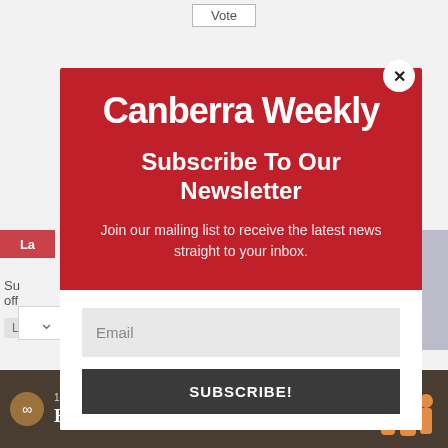Vote
[Figure (screenshot): Canberra Weekly website screenshot showing newsletter subscription modal popup over news content. Modal has red header with 'Canberra Weekly' logo, 'Subscribe To Our Newsletter' heading, body text 'Join our mailing list to receive the latest news straight to your inbox.', an email input field, and a SUBSCRIBE! button. Below the modal is a '1 September 2022 - Hearing the Land' promotional banner.]
Canberra Weekly
Subscribe To Our Newsletter
Join our mailing list to receive the latest news straight to your inbox.
Email
SUBSCRIBE!
1 SEPTEMBER 2022 Hearing the Land